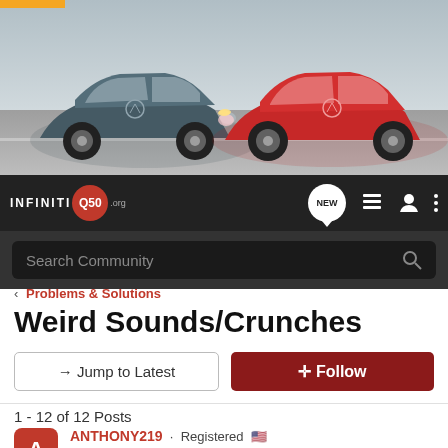[Figure (photo): Banner image showing two INFINITI Q50 cars (blue/grey and red) on a road with blurred background. Orange accent bar at top left.]
INFINITI Q50.org — navigation bar with NEW, list, user, and menu icons. Search Community search bar.
< Problems & Solutions
Weird Sounds/Crunches
→ Jump to Latest   ⊕ Follow
1 - 12 of 12 Posts
ANTHONY219 · Registered 🇺🇸
Joined Aug 22, 2013 · 70 Posts